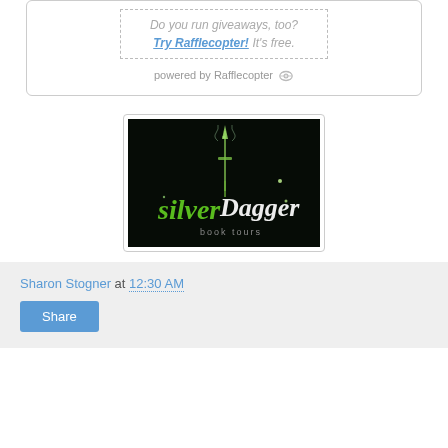Do you run giveaways, too? Try Rafflecopter! It's free.
powered by Rafflecopter
[Figure (logo): Silver Dagger Book Tours logo — white script text on black background with a glowing green dagger illustration]
Sharon Stogner at 12:30 AM
Share